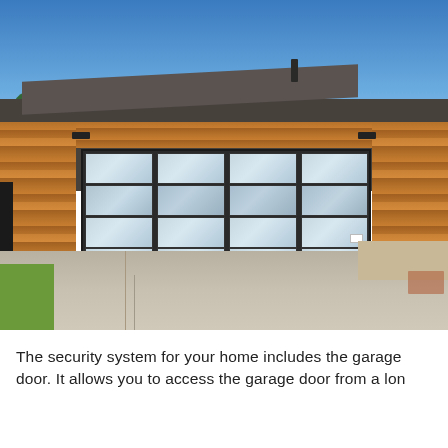[Figure (photo): Photograph of a modern garage with a glass and dark aluminum panel garage door, flanked by horizontal cedar wood siding. The garage has a dark asphalt shingle roof. A concrete driveway extends in front. Blue sky visible above. Small rectangular light fixtures mounted on the wood siding on each side of the garage door.]
The security system for your home includes the garage door. It allows you to access the garage door from a lon...